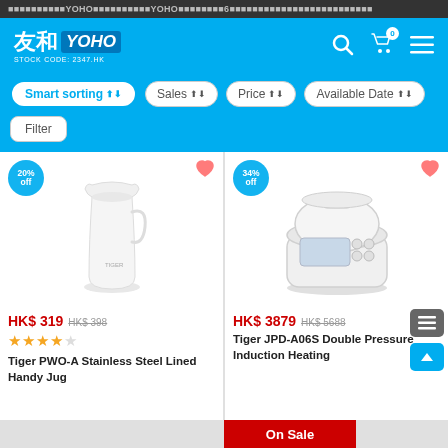友和YOHO網上購物 YOHO 香港最大電器及6 ...
[Figure (logo): YOHO 友和 logo with stock code 2347.HK]
Smart sorting ⬦ | Sales ⬦ | Price ⬦ | Available Date ⬦
Filter
[Figure (photo): Tiger PWO-A Stainless Steel Lined Handy Jug product image, white thermos jug]
HK$ 319 HK$ 398
★★★★☆
Tiger PWO-A Stainless Steel Lined Handy Jug
[Figure (photo): Tiger JPD-A06S Double Pressure Induction Heating rice cooker, white]
HK$ 3879 HK$ 5688
Tiger JPD-A06S Double Pressure Induction Heating
On Sale